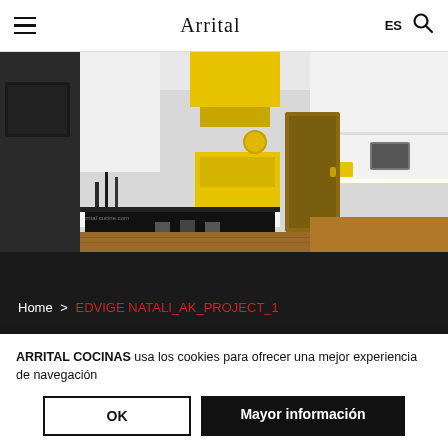Arrital | ES
[Figure (photo): Modern kitchen interior with white cabinets, yellow hood and yellow accent elements, dark kitchen island, bar stools, and wooden floor]
Home > EDVIGE NATALI_AK_PROJECT_1
EDVIGE NATALI_AK_PROJECT_1
ARRITAL COCINAS usa los cookies para ofrecer una mejor experiencia de navegación
OK   Mayor información